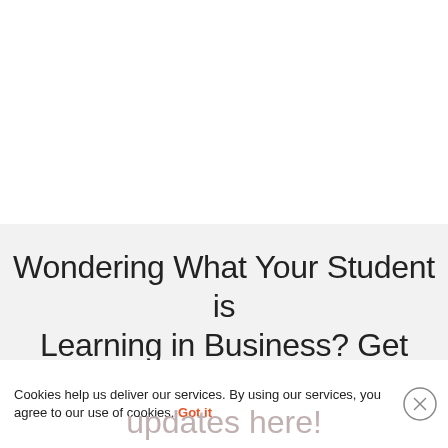Wondering What Your Student is Learning in Business? Get weekly updates here!
Cookies help us deliver our services. By using our services, you agree to our use of cookies. Got it